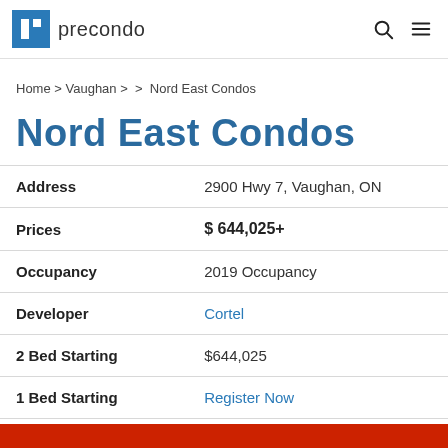precondo
Home > Vaughan > > Nord East Condos
Nord East Condos
| Field | Value |
| --- | --- |
| Address | 2900 Hwy 7, Vaughan, ON |
| Prices | $ 644,025+ |
| Occupancy | 2019 Occupancy |
| Developer | Cortel |
| 2 Bed Starting | $644,025 |
| 1 Bed Starting | Register Now |